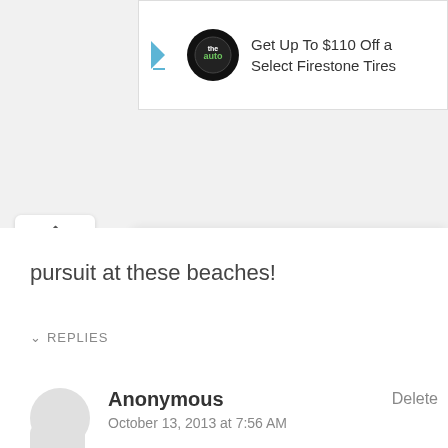[Figure (screenshot): Advertisement banner for Firestone Tires with logo and text 'Get Up To $110 Off a Select Firestone Tires']
pursuit at these beaches!
REPLIES
Anonymous
October 13, 2013 at 7:56 AM
lol, that's what i was thinking... how do they mingle?